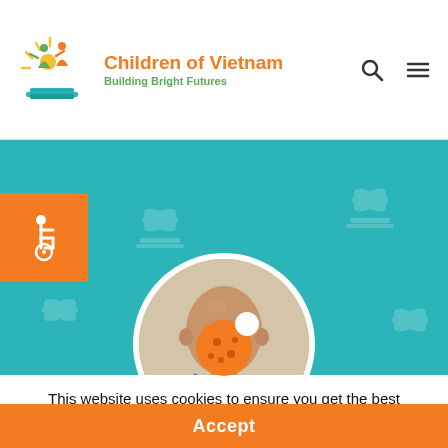[Figure (logo): Children of Vietnam logo with colorful sun, children, and book icons. Text reads 'Children of Vietnam' in orange and 'Building Bright Futures' in green.]
[Figure (photo): Teal banner with subtle watermark pattern and circular profile photo of a bald older man smiling, wearing a patterned blue shirt. Orange accessibility wheelchair icon on the left side.]
[Figure (illustration): Orange cookie icon (browser cookie consent symbol)]
This website uses cookies to ensure you get the best experience on our website.
Accept